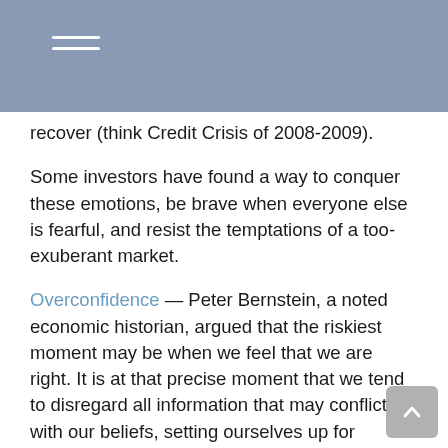recover (think Credit Crisis of 2008-2009).
Some investors have found a way to conquer these emotions, be brave when everyone else is fearful, and resist the temptations of a too-exuberant market.
Overconfidence — Peter Bernstein, a noted economic historian, argued that the riskiest moment may be when we feel that we are right. It is at that precise moment that we tend to disregard all information that may conflict with our beliefs, setting ourselves up for investment surprise.
Selective Memory — Human nature is such that we tend to recast history in a manner that emphasizes our successes and downplays our failures. As a result, we may not benefit from the valuable lessons failure can teach. Indeed, failure may be your most valuable asset